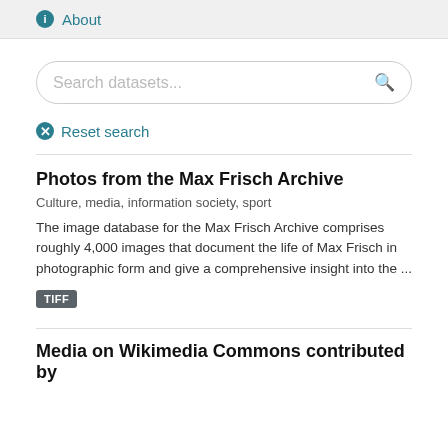About
Search datasets...
Reset search
Photos from the Max Frisch Archive
Culture, media, information society, sport
The image database for the Max Frisch Archive comprises roughly 4,000 images that document the life of Max Frisch in photographic form and give a comprehensive insight into the ...
TIFF
Media on Wikimedia Commons contributed by